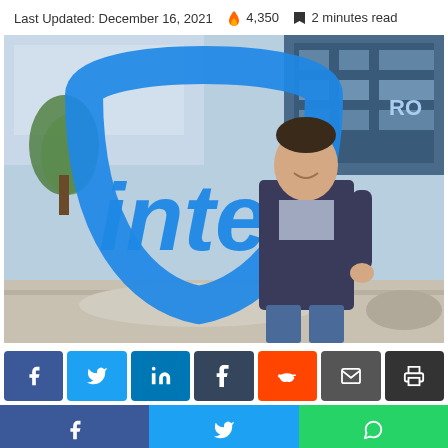Last Updated: December 16, 2021  🔥 4,350  🔖 2 minutes read
[Figure (photo): Man in a dark blazer standing in front of a large Intel logo sculpture outside an Intel building]
[Figure (infographic): Social share buttons: Facebook (blue), Twitter (light blue), LinkedIn (teal), Tumblr (dark gray), Reddit (orange), Email (dark gray), Print (dark gray) in a row, and a bottom bar with Facebook (blue), Twitter (blue), WhatsApp (green)]